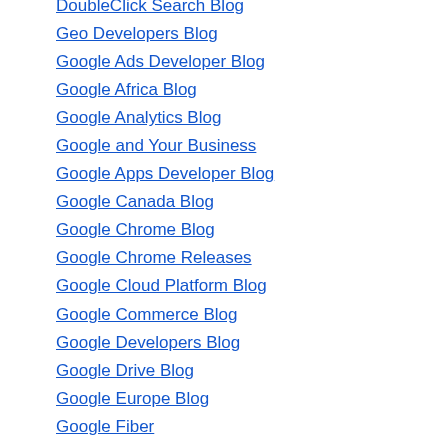DoubleClick Search Blog
Geo Developers Blog
Google Ads Developer Blog
Google Africa Blog
Google Analytics Blog
Google and Your Business
Google Apps Developer Blog
Google Canada Blog
Google Chrome Blog
Google Chrome Releases
Google Cloud Platform Blog
Google Commerce Blog
Google Developers Blog
Google Drive Blog
Google Europe Blog
Google Fiber
Google for Education Blog
Google for Nonprofits
Google for Work Blog